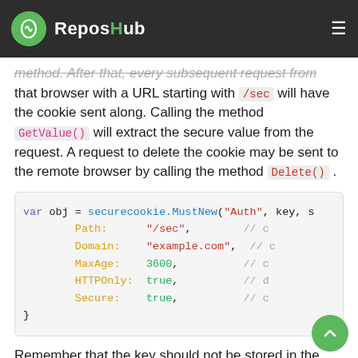ReposHub
method. After that, every subsequent request from that browser with a URL starting with /sec will have the cookie sent along. Calling the method GetValue() will extract the secure value from the request. A request to delete the cookie may be sent to the remote browser by calling the method Delete() .
[Figure (screenshot): Code block showing Go code: var obj = securecookie.MustNew("Auth", key, s with options Path: "/sec", Domain: "example.com", MaxAge: 3600, HTTPOnly: true, Secure: true followed by closing brace.]
Remember that the key should not be stored in the source code or in a repository.